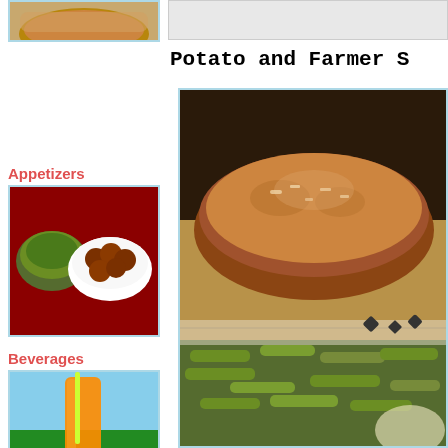[Figure (photo): Partial food photo top left - baked goods cropped]
[Figure (photo): Main page title area top right with light gray bar]
Potato and Farmer S
Appetizers
[Figure (photo): Appetizers thumbnail - meatballs and green vegetables on red background]
Beverages
[Figure (photo): Beverages thumbnail - orange drink with straw, green field background]
Bread for the Journey
[Figure (photo): Bread for the Journey thumbnail - open book on grass with flowers]
[Figure (photo): Main large photo - rustic bread loaf on cutting board with green beans]